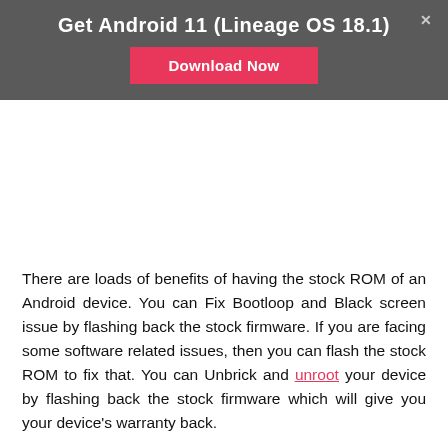Get Android 11 (Lineage OS 18.1)
[Figure (screenshot): Download Now button (red) inside a dark gray promotional banner with a close X button]
[Figure (other): White ad/image space below the banner]
There are loads of benefits of having the stock ROM of an Android device. You can Fix Bootloop and Black screen issue by flashing back the stock firmware. If you are facing some software related issues, then you can flash the stock ROM to fix that. You can Unbrick and unroot your device by flashing back the stock firmware which will give you your device's warranty back.